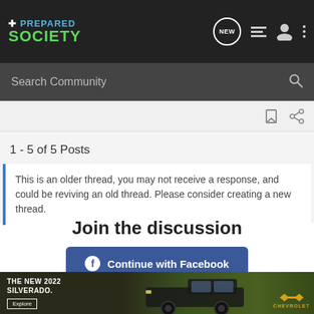[Figure (screenshot): Prepared Society website header with logo, NEW chat icon, list icon, user icon, and three-dots menu icon on dark background]
[Figure (screenshot): Search Community search bar on dark grey background with magnifying glass icon]
[Figure (screenshot): Toolbar strip with bookmark and share icons on light grey background]
1 - 5 of 5 Posts
This is an older thread, you may not receive a response, and could be reviving an old thread. Please consider creating a new thread.
Join the discussion
Continue with Facebook
[Figure (photo): Chevrolet advertisement banner: THE NEW 2022 SILVERADO. Explore button. Truck image with Chevrolet bowtie logo on dark green/earthy background.]